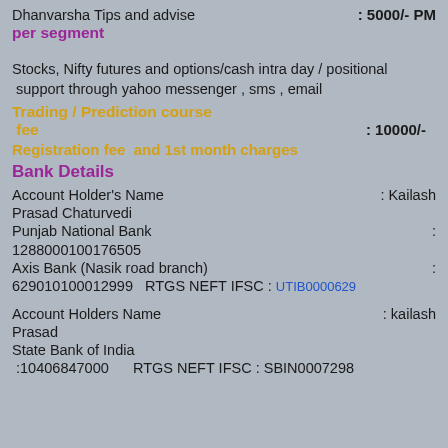Dhanvarsha Tips and advise : 5000/- PM per segment
Stocks, Nifty futures and options/cash intra day / positional support through yahoo messenger , sms , email
Trading / Prediction course fee : 10000/-
Registration fee and 1st month charges
Bank Details
Account Holder's Name : Kailash Prasad Chaturvedi
Punjab National Bank : 1288000100176505
Axis Bank (Nasik road branch) : 629010100012999  RTGS NEFT IFSC : UTIB0000629
Account Holders Name : kailash Prasad
State Bank of India :10406847000  RTGS NEFT IFSC : SBIN0007298